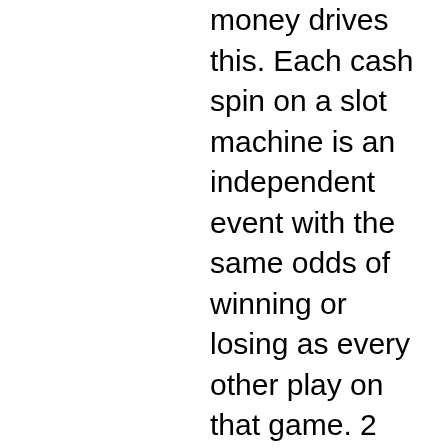money drives this. Each cash spin on a slot machine is an independent event with the same odds of winning or losing as every other play on that game. 2 contrary to popular belief. Of course, the odds of winning on a slot machine depend on the probability of aligning a winning combination of symbols. Slot machine odds are some of the worst, ranging from a one-in-5,000 to one-in-about-34-million. The laws of probability are such that in most games you'll always have to bet more When it comes to the odds of winning, one must look at the number of reels a machine has, and the jackpot pay off. The higher the number of reels and the higher. Blackjack has the best odds of winning, with a house edge of just 1 percent in most casinos, bean said. Slot machines are typically programmed to pay out as winnings 0% to 99% of the money that is wagered by players. This is